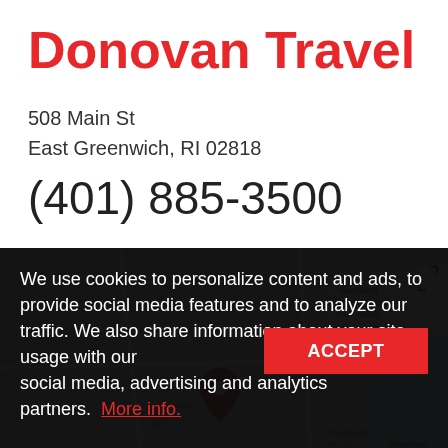Donovan Travel
508 Main St
East Greenwich, RI 02818
(401) 885-3500
[Figure (screenshot): Google Maps view of East Greenwich, RI area showing streets, with a cookie consent overlay banner and a partial map showing Goddard Memorial State Park Beach area with a red location pin near Union & Main.]
We use cookies to personalize content and ads, to provide social media features and to analyze our traffic. We also share information about your site usage with our social media, advertising and analytics partners. More info.